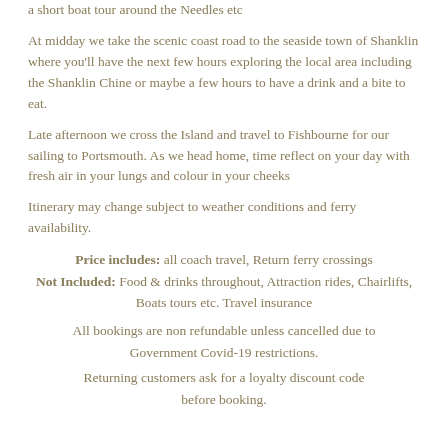a short boat tour around the Needles etc
At midday we take the scenic coast road to the seaside town of Shanklin where you'll have the next few hours exploring the local area including the Shanklin Chine or maybe a few hours to have a drink and a bite to eat.
Late afternoon we cross the Island and travel to Fishbourne for our sailing to Portsmouth. As we head home, time reflect on your day with fresh air in your lungs and colour in your cheeks
Itinerary may change subject to weather conditions and ferry availability.
Price includes: all coach travel, Return ferry crossings Not Included: Food & drinks throughout, Attraction rides, Chairlifts, Boats tours etc. Travel insurance
All bookings are non refundable unless cancelled due to Government Covid-19 restrictions.
Returning customers ask for a loyalty discount code before booking.